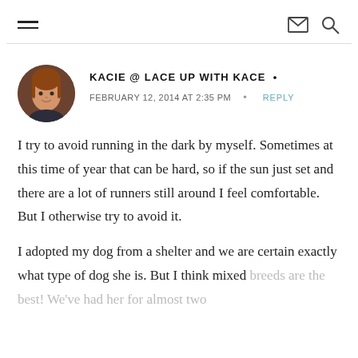≡  ✉ 🔍
KACIE @ LACE UP WITH KACE •
FEBRUARY 12, 2014 AT 2:35 PM • REPLY
I try to avoid running in the dark by myself. Sometimes at this time of year that can be hard, so if the sun just set and there are a lot of runners still around I feel comfortable. But I otherwise try to avoid it.
I adopted my dog from a shelter and we are certain exactly what type of dog she is. But I think mixed breeds are the best! We've had her for almost two